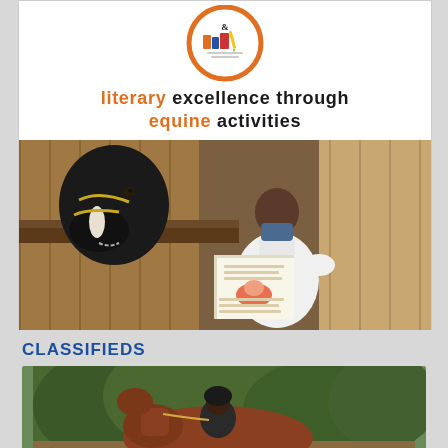[Figure (logo): Circular logo with orange border, books and pencils illustration inside, for Literary Excellence Through Equine Activities]
literary excellence through equine activities
[Figure (photo): A child wearing a white t-shirt and face mask reads a picture book to a dark horse leaning over a wooden stable stall door]
CLASSIFIEDS
[Figure (photo): A horse and rider outdoors, partially visible at bottom of page]